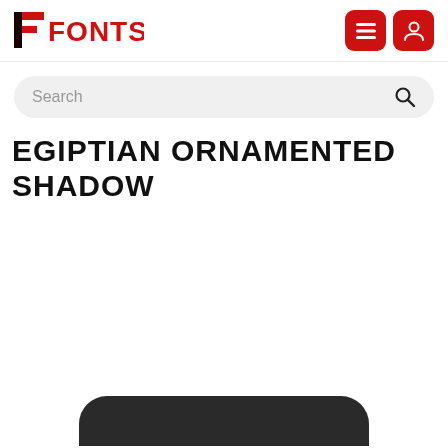FFONTS
Search
EGIPTIAN ORNAMENTED SHADOW